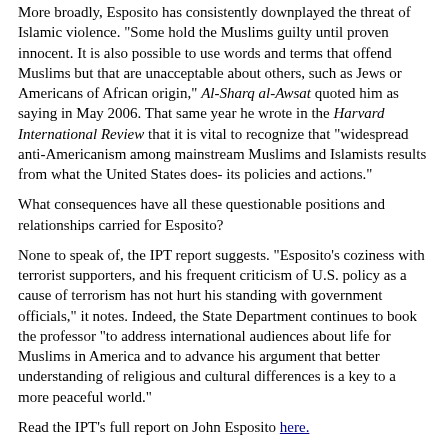More broadly, Esposito has consistently downplayed the threat of Islamic violence. "Some hold the Muslims guilty until proven innocent. It is also possible to use words and terms that offend Muslims but that are unacceptable about others, such as Jews or Americans of African origin," Al-Sharq al-Awsat quoted him as saying in May 2006. That same year he wrote in the Harvard International Review that it is vital to recognize that "widespread anti-Americanism among mainstream Muslims and Islamists results from what the United States does- its policies and actions."
What consequences have all these questionable positions and relationships carried for Esposito?
None to speak of, the IPT report suggests. "Esposito's coziness with terrorist supporters, and his frequent criticism of U.S. policy as a cause of terrorism has not hurt his standing with government officials," it notes. Indeed, the State Department continues to book the professor "to address international audiences about life for Muslims in America and to advance his argument that better understanding of religious and cultural differences is a key to a more peaceful world."
Read the IPT's full report on John Esposito here.
BACK TO TOP OF PAGE